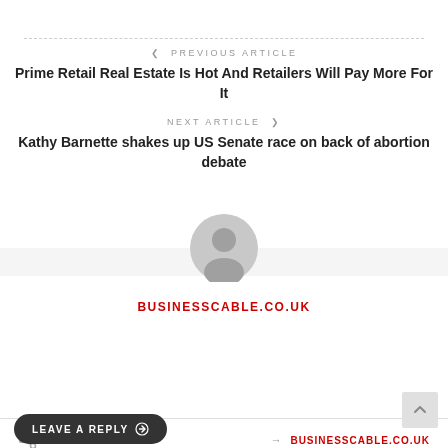< PREVIOUS ARTICLE
Prime Retail Real Estate Is Hot And Retailers Will Pay More For It
NEXT ARTICLE >
Kathy Barnette shakes up US Senate race on back of abortion debate
[Figure (illustration): Default user avatar — grey silhouette of a person in a circle]
BUSINESSCABLE.CO.UK
→ BUSINESSCABLE.CO.UK
LEAVE A REPLY